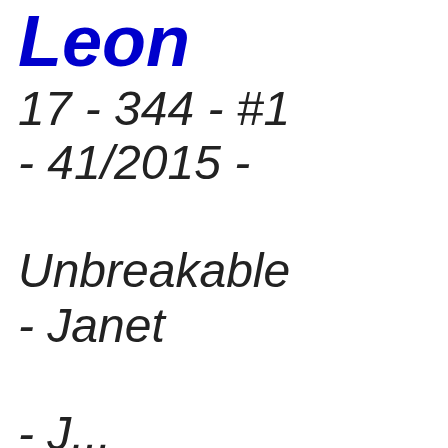Leon
17 - 344 - #1 - 41/2015 - Unbreakable - Janet - ...